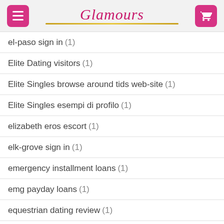Glamours
el-paso sign in (1)
Elite Dating visitors (1)
Elite Singles browse around tids web-site (1)
Elite Singles esempi di profilo (1)
elizabeth eros escort (1)
elk-grove sign in (1)
emergency installment loans (1)
emg payday loans (1)
equestrian dating review (1)
Equestrian Dating visitors (1)